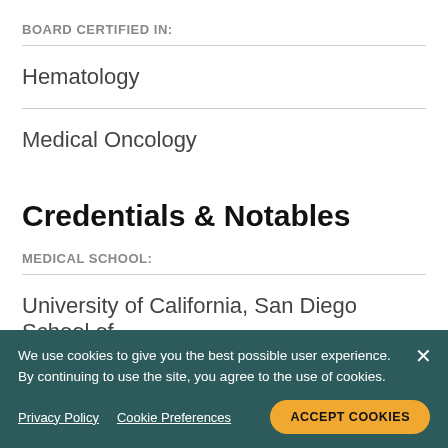BOARD CERTIFIED IN:
Hematology
Medical Oncology
Credentials & Notables
MEDICAL SCHOOL:
University of California, San Diego School of Medicine
We use cookies to give you the best possible user experience. By continuing to use the site, you agree to the use of cookies.